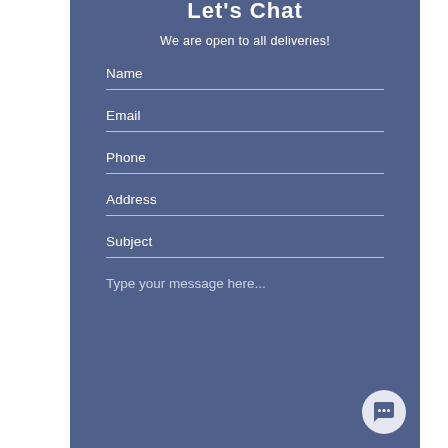Let's Chat
We are open to all deliveries!
Name
Email
Phone
Address
Subject
Type your message here...